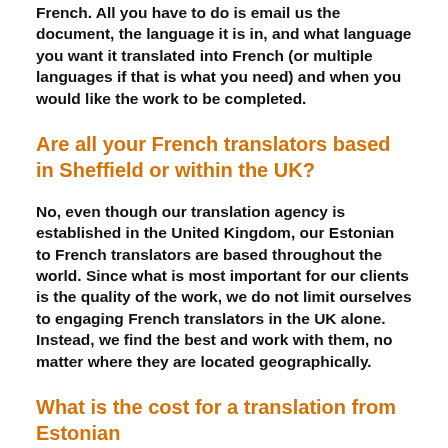French. All you have to do is email us the document, the language it is in, and what language you want it translated into French (or multiple languages if that is what you need) and when you would like the work to be completed.
Are all your French translators based in Sheffield or within the UK?
No, even though our translation agency is established in the United Kingdom, our Estonian to French translators are based throughout the world. Since what is most important for our clients is the quality of the work, we do not limit ourselves to engaging French translators in the UK alone. Instead, we find the best and work with them, no matter where they are located geographically.
What is the cost for a translation from Estonian